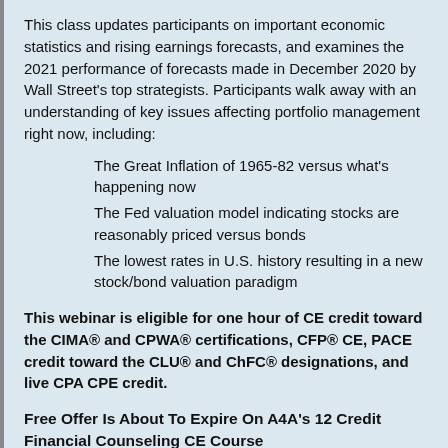This class updates participants on important economic statistics and rising earnings forecasts, and examines the 2021 performance of forecasts made in December 2020 by Wall Street's top strategists. Participants walk away with an understanding of key issues affecting portfolio management right now, including:
The Great Inflation of 1965-82 versus what's happening now
The Fed valuation model indicating stocks are reasonably priced versus bonds
The lowest rates in U.S. history resulting in a new stock/bond valuation paradigm
This webinar is eligible for one hour of CE credit toward the CIMA® and CPWA® certifications, CFP® CE, PACE credit toward the CLU® and ChFC® designations, and live CPA CPE credit.
Free Offer Is About To Expire On A4A's 12 Credit Financial Counseling CE Course